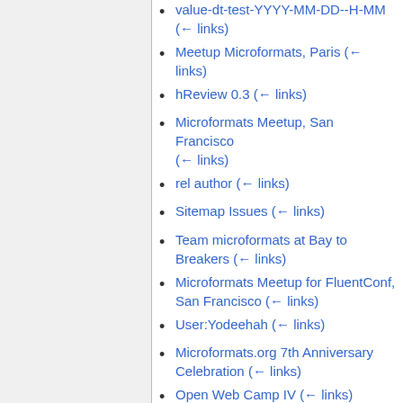value-dt-test-YYYY-MM-DD--H-MM (← links)
Meetup Microformats, Paris (← links)
hReview 0.3 (← links)
Microformats Meetup, San Francisco (← links)
rel author (← links)
Sitemap Issues (← links)
Team microformats at Bay to Breakers (← links)
Microformats Meetup for FluentConf, San Francisco (← links)
User:Yodeehah (← links)
Microformats.org 7th Anniversary Celebration (← links)
Open Web Camp IV (← links)
Innovators of the Web Conference (← links)
HTML 5 & microformats? meetup -